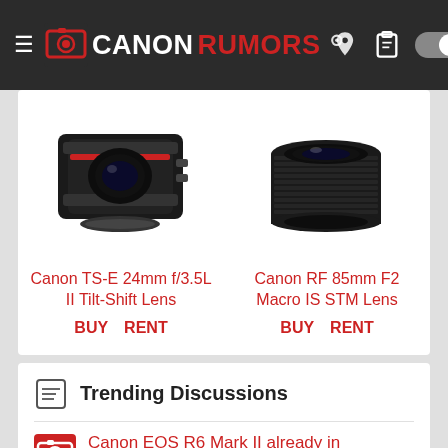CANON RUMORS - Navigation bar
[Figure (photo): Canon TS-E 24mm f/3.5L II Tilt-Shift Lens product photo]
Canon TS-E 24mm f/3.5L II Tilt-Shift Lens
BUY  RENT
[Figure (photo): Canon RF 85mm F2 Macro IS STM Lens product photo]
Canon RF 85mm F2 Macro IS STM Lens
BUY  RENT
Trending Discussions
Canon EOS R6 Mark II already in prototype testing [CR1]
Started by Canon Rumors Guy · Yesterday at 5:30 PM
Replies: 54